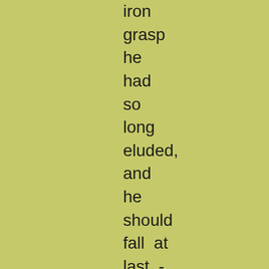iron grasp he had so long eluded, and he should fall at last - richly as he merited such a fate - by her hand.